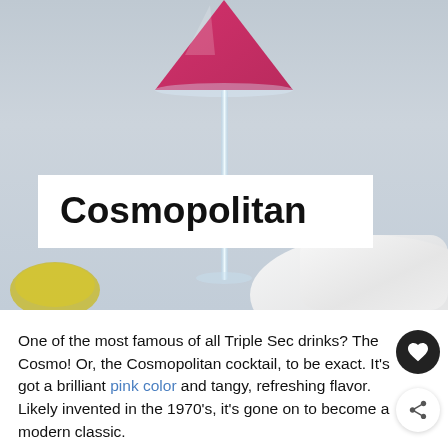[Figure (photo): A cosmopolitan cocktail in a martini glass with pink/red liquid, resting on a light grey surface with a white cloth napkin and citrus garnish]
Cosmopolitan
One of the most famous of all Triple Sec drinks? The Cosmo! Or, the Cosmopolitan cocktail, to be exact. It's got a brilliant pink color and tangy, refreshing flavor. Likely invented in the 1970's, it's gone on to become a modern classic.